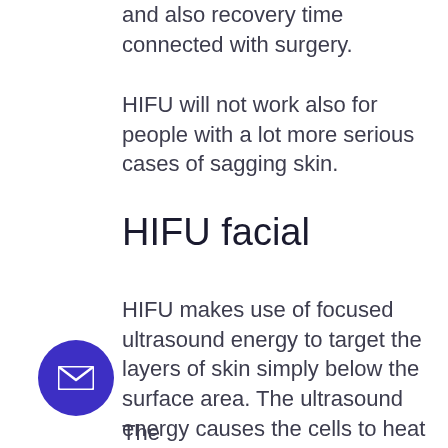and also recovery time connected with surgery.
HIFU will not work also for people with a lot more serious cases of sagging skin.
HIFU facial
HIFU makes use of focused ultrasound energy to target the layers of skin simply below the surface area. The ultrasound energy causes the cells to heat up swiftly.
Once the cells in the targeted area reach a certain temperature level, they experience mobile damages. While this might seem counterproductive, the damage in fact promotes cells to produce more collagen– a healthy ein that provides framework to the skin.